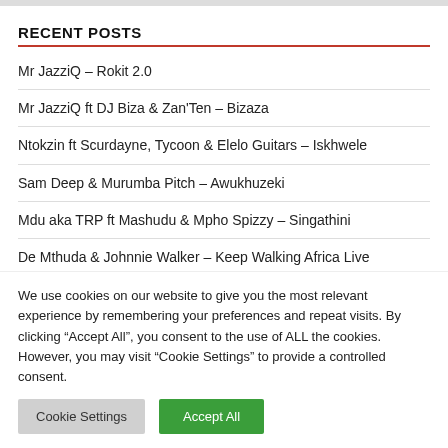RECENT POSTS
Mr JazziQ – Rokit 2.0
Mr JazziQ ft DJ Biza & Zan'Ten – Bizaza
Ntokzin ft Scurdayne, Tycoon & Elelo Guitars – Iskhwele
Sam Deep & Murumba Pitch – Awukhuzeki
Mdu aka TRP ft Mashudu & Mpho Spizzy – Singathini
De Mthuda & Johnnie Walker – Keep Walking Africa Live
We use cookies on our website to give you the most relevant experience by remembering your preferences and repeat visits. By clicking "Accept All", you consent to the use of ALL the cookies. However, you may visit "Cookie Settings" to provide a controlled consent.